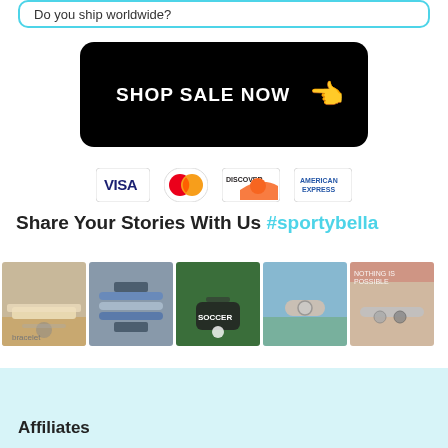Do you ship worldwide?
[Figure (other): Black button with text SHOP SALE NOW and pointing hand emoji]
[Figure (other): Payment icons: Visa, Mastercard, Discover, American Express]
Share Your Stories With Us #sportybella
[Figure (photo): Five photos of bracelets and jewelry worn on wrists]
Affiliates